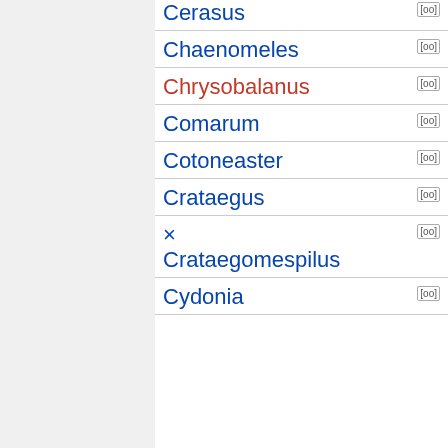Cerasus [edit]
Chaenomeles [edit]
Chrysobalanus [edit]
Comarum [edit]
Cotoneaster [edit]
Crataegus [edit]
× Crataegomespilus [edit]
Cydonia [edit]